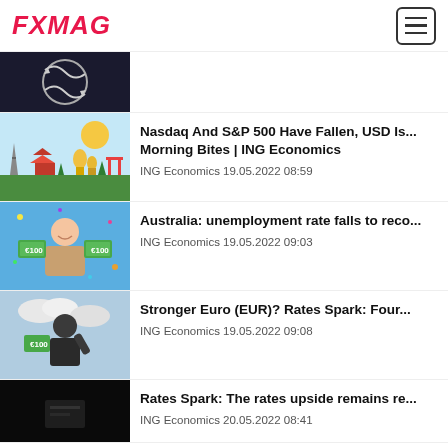FXMAG
[Figure (photo): Dark themed abstract image with circular arrows - partial view]
Nasdaq And S&P 500 Have Fallen, USD Is... Morning Bites | ING Economics
ING Economics 19.05.2022 08:59
[Figure (illustration): Cartoon illustration of world landmarks on light blue background]
Australia: unemployment rate falls to reco...
ING Economics 19.05.2022 09:03
[Figure (photo): Happy young man holding euro banknotes on blue background with confetti]
Stronger Euro (EUR)? Rates Spark: Four...
ING Economics 19.05.2022 09:08
[Figure (photo): Person holding euro banknotes against cloudy sky]
Rates Spark: The rates upside remains re...
ING Economics 20.05.2022 08:41
[Figure (photo): Dark/black image - partial view at bottom]